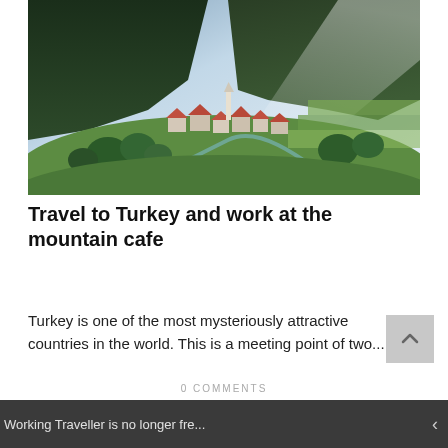[Figure (photo): Aerial view of a Turkish mountain village with red-roofed houses nestled in a lush green valley, surrounded by forested hills and terraced fields, with a minaret visible in the center.]
Travel to Turkey and work at the mountain cafe
Turkey is one of the most mysteriously attractive countries in the world. This is a meeting point of two...
0 COMMENTS
Working Traveller is no longer fre...